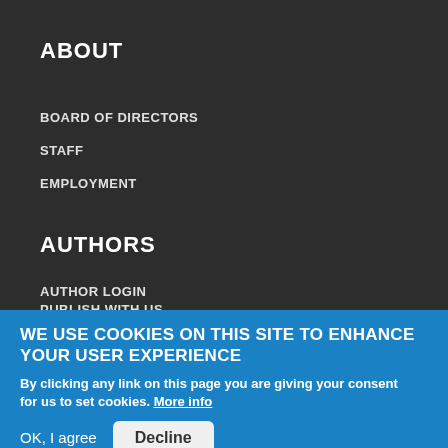ABOUT
BOARD OF DIRECTORS
STAFF
EMPLOYMENT
AUTHORS
AUTHOR LOGIN
PUBLISH WITH US
OUR EDITORS
WE USE COOKIES ON THIS SITE TO ENHANCE YOUR USER EXPERIENCE
By clicking any link on this page you are giving your consent for us to set cookies. More info
OK, I agree
Decline